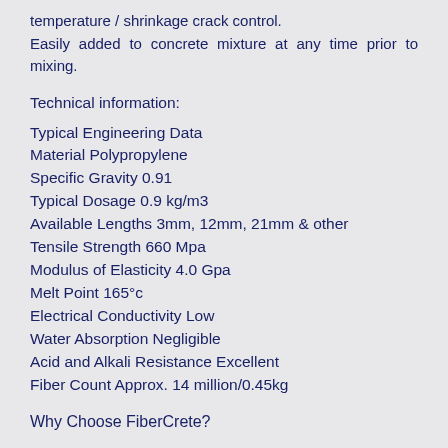temperature / shrinkage crack control.
Easily added to concrete mixture at any time prior to mixing.
Technical information:
Typical Engineering Data
Material Polypropylene
Specific Gravity 0.91
Typical Dosage 0.9 kg/m3
Available Lengths 3mm, 12mm, 21mm & other
Tensile Strength 660 Mpa
Modulus of Elasticity 4.0 Gpa
Melt Point 165°c
Electrical Conductivity Low
Water Absorption Negligible
Acid and Alkali Resistance Excellent
Fiber Count Approx. 14 million/0.45kg
Why Choose FiberCrete?